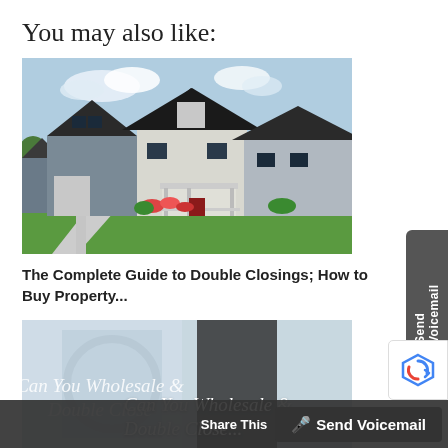You may also like:
[Figure (photo): Row of suburban two-story homes with gray and white siding, garages, front porches, green lawns, and flower beds under a blue sky with clouds.]
The Complete Guide to Double Closings; How to Buy Property...
[Figure (photo): Frosted glass with text overlay reading 'Can You Wholesale & Double Close Homes']
Share This   Send Voicemail